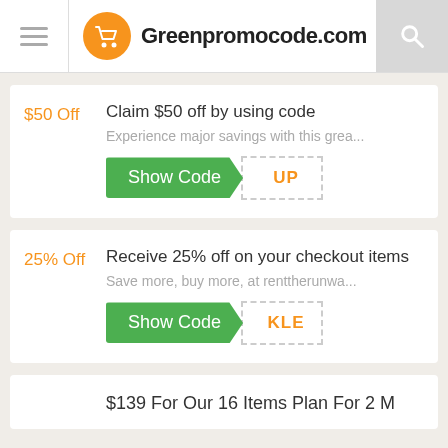Greenpromocode.com
$50 Off — Claim $50 off by using code
Experience major savings with this grea...
Show Code | UP
25% Off — Receive 25% off on your checkout items
Save more, buy more, at renttherunwa...
Show Code | KLE
$139 For Our 16 Items Plan For 2 M